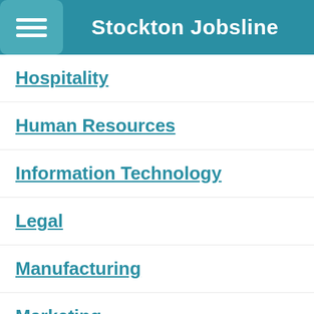Stockton Jobsline
Hospitality
Human Resources
Information Technology
Legal
Manufacturing
Marketing
Medical